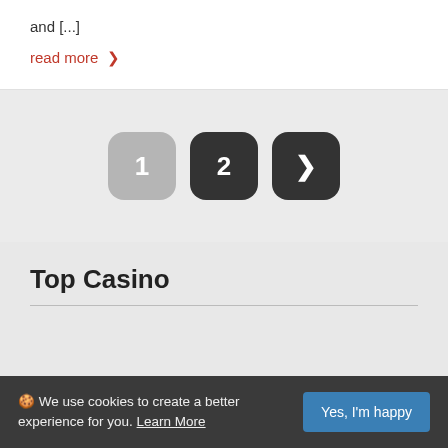and [...]
read more >
[Figure (other): Pagination buttons: 1 (grey), 2 (dark), > next (dark)]
Top Casino
🍪 We use cookies to create a better experience for you. Learn More
Yes, I'm happy